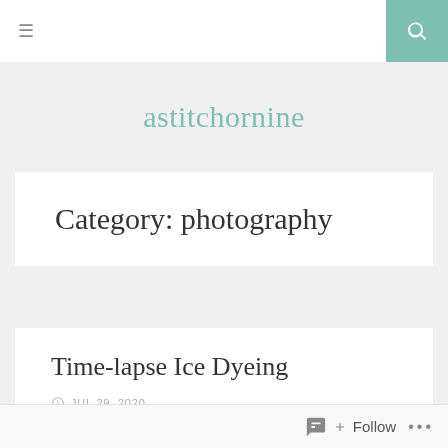≡  [search icon]
astitchornine
Category: photography
Time-lapse Ice Dyeing
JUL 29, 2020
TOOMANYSTITCHES
Follow  ...